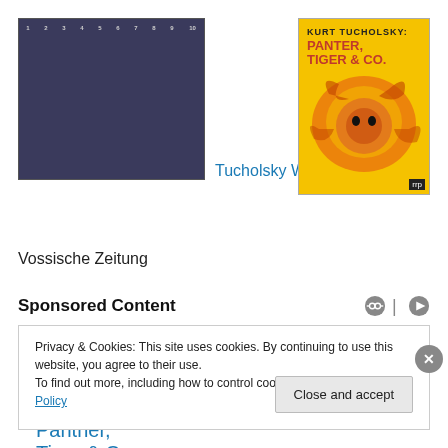[Figure (photo): Photo of 10 Kurt Tucholsky book volumes (dark blue/purple spines numbered 1-10) arranged side by side]
Tucholsky Works
[Figure (photo): Book cover of Kurt Tucholsky: Panter, Tiger & Co. with yellow background and red/orange tiger illustration]
Tucholsky: Panther, Tiger & Co
Vossische Zeitung
Sponsored Content
Privacy & Cookies: This site uses cookies. By continuing to use this website, you agree to their use.
To find out more, including how to control cookies, see here: Cookie Policy
Close and accept